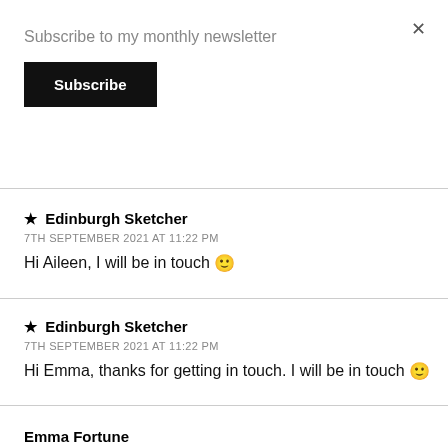Subscribe to my monthly newsletter
Subscribe
× (close button)
★ Edinburgh Sketcher
7TH SEPTEMBER 2021 AT 11:22 PM
Hi Aileen, I will be in touch 🙂
★ Edinburgh Sketcher
7TH SEPTEMBER 2021 AT 11:22 PM
Hi Emma, thanks for getting in touch. I will be in touch 🙂
Emma Fortune
7TH SEPTEMBER 2021 AT 5:48 PM